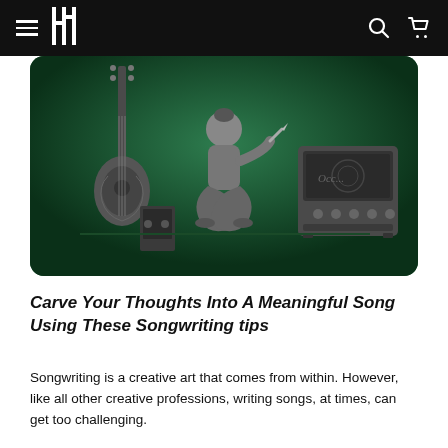Navigation bar with menu, logo, search and cart icons
[Figure (illustration): Illustration of a seated person writing/drawing, with an electric guitar on the left and a guitar amplifier on the right, on a dark green background]
Carve Your Thoughts Into A Meaningful Song Using These Songwriting tips
Songwriting is a creative art that comes from within. However, like all other creative professions, writing songs, at times, can get too challenging.
Consider a situation where you sit down to write the most beautiful piece of art. But as soon as you pick up your pen to jot down your thoughts, you go all blank – a situation where you want to stay there and let it sink in.